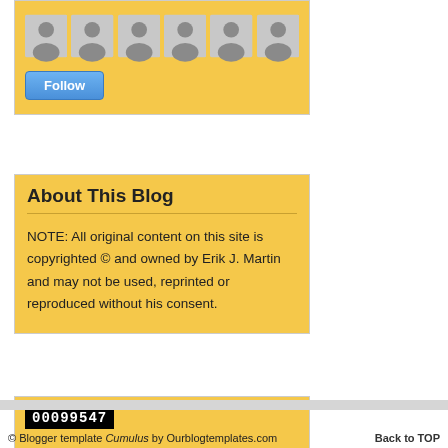[Figure (screenshot): Row of 7 default avatar icons inside a yellow/gold widget box]
Follow
About This Blog
NOTE: All original content on this site is copyrighted © and owned by Erik J. Martin and may not be used, reprinted or reproduced without his consent.
[Figure (other): Visitor counter widget showing 00099547 in white text on black background, inside yellow widget box]
© Blogger template Cumulus by Ourblogtemplates.com    Back to TOP